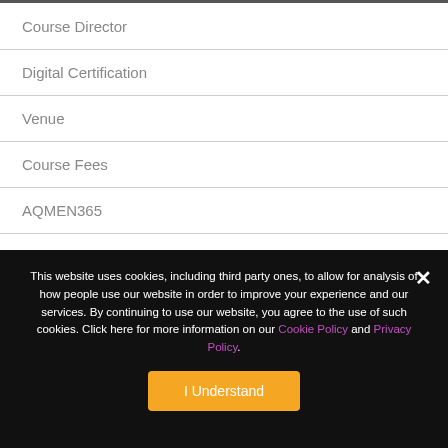Course Director
Digital Certification
Venue
Course Fees
AQMEN365
Overview
This website uses cookies, including third party ones, to allow for analysis of how people use our website in order to improve your experience and our services. By continuing to use our website, you agree to the use of such cookies. Click here for more information on our Cookie Policy and Privacy Policy.